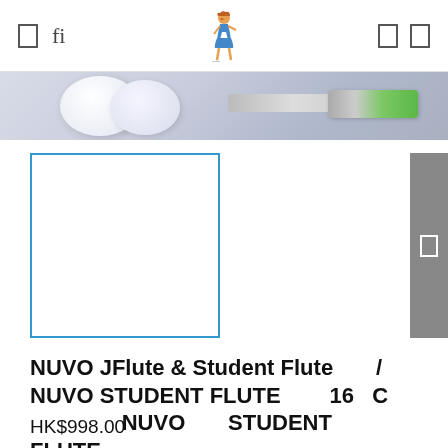Navigation header with icons and logo
[Figure (photo): Product banner image showing white earbuds and a green-capped tube/bottle against a light blue-grey background]
[Figure (photo): White square product thumbnail with blue border, product image area (blank/white)]
NUVO JFlute & Student Flute / NUVO STUDENT FLUTE 16 C NUVO STUDENT FLUTE
HK$998.00